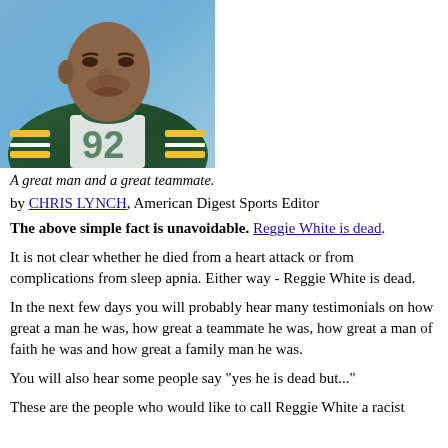[Figure (photo): Close-up photo of a football player wearing a Green Bay Packers green and yellow jersey, looking to the side. Blue background visible.]
A great man and a great teammate.
by CHRIS LYNCH, American Digest Sports Editor
The above simple fact is unavoidable. Reggie White is dead.
It is not clear whether he died from a heart attack or from complications from sleep apnia. Either way - Reggie White is dead.
In the next few days you will probably hear many testimonials on how great a man he was, how great a teammate he was, how great a man of faith he was and how great a family man he was.
You will also hear some people say "yes he is dead but..."
These are the people who would like to call Reggie White a racist